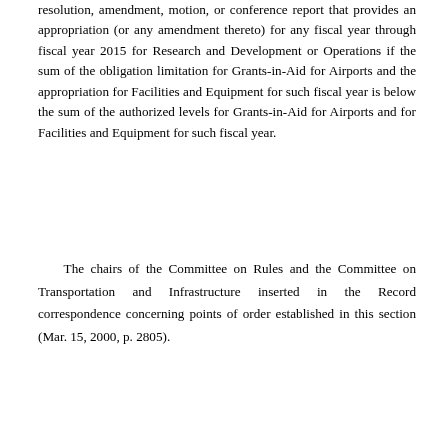resolution, amendment, motion, or conference report that provides an appropriation (or any amendment thereto) for any fiscal year through fiscal year 2015 for Research and Development or Operations if the sum of the obligation limitation for Grants-in-Aid for Airports and the appropriation for Facilities and Equipment for such fiscal year is below the sum of the authorized levels for Grants-in-Aid for Airports and for Facilities and Equipment for such fiscal year.
The chairs of the Committee on Rules and the Committee on Transportation and Infrastructure inserted in the Record correspondence concerning points of order established in this section (Mar. 15, 2000, p. 2805).